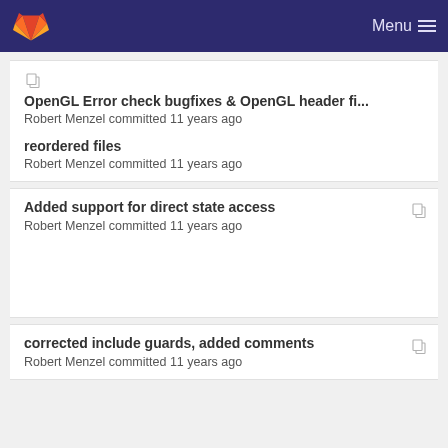Menu
OpenGL Error check bugfixes & OpenGL header fi...
Robert Menzel committed 11 years ago
reordered files
Robert Menzel committed 11 years ago
Added support for direct state access
Robert Menzel committed 11 years ago
corrected include guards, added comments
Robert Menzel committed 11 years ago